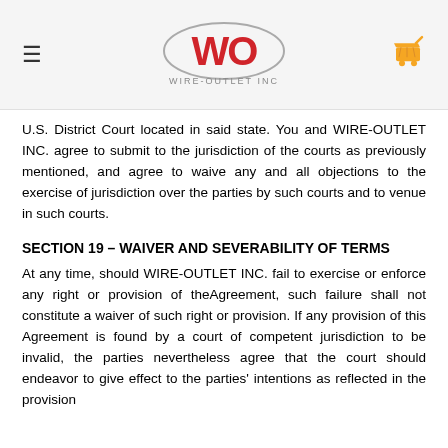WIRE-OUTLET INC
U.S. District Court located in said state. You and WIRE-OUTLET INC. agree to submit to the jurisdiction of the courts as previously mentioned, and agree to waive any and all objections to the exercise of jurisdiction over the parties by such courts and to venue in such courts.
SECTION 19 – WAIVER AND SEVERABILITY OF TERMS
At any time, should WIRE-OUTLET INC. fail to exercise or enforce any right or provision of theAgreement, such failure shall not constitute a waiver of such right or provision. If any provision of this Agreement is found by a court of competent jurisdiction to be invalid, the parties nevertheless agree that the court should endeavor to give effect to the parties' intentions as reflected in the provision